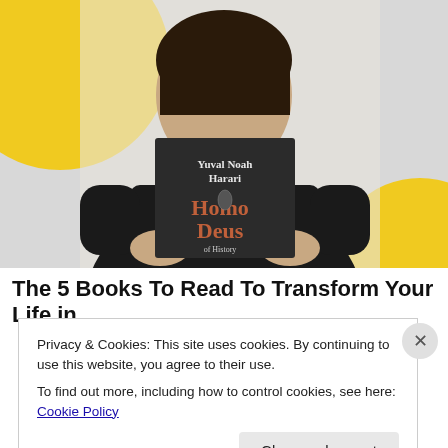[Figure (photo): A person holding up a copy of 'Homo Deus' by Yuval Noah Harari in front of their face. The background has yellow circular shapes on a gray/white wall.]
The 5 Books To Read To Transform Your Life in
Privacy & Cookies: This site uses cookies. By continuing to use this website, you agree to their use.
To find out more, including how to control cookies, see here: Cookie Policy